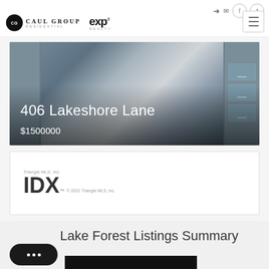Caul Group Residential | eXp Realty
[Figure (photo): Interior photo of a room with built-in cabinetry and drawers, blue-gray tones, used as property listing hero image for 406 Lakeshore Lane]
406 Lakeshore Lane
$1500000
[Figure (logo): IDX logo with text: Triangle MLS, Inc. / IDX TM / © 2021 Triangle MLS, Inc.]
Lake Forest Listings Summary